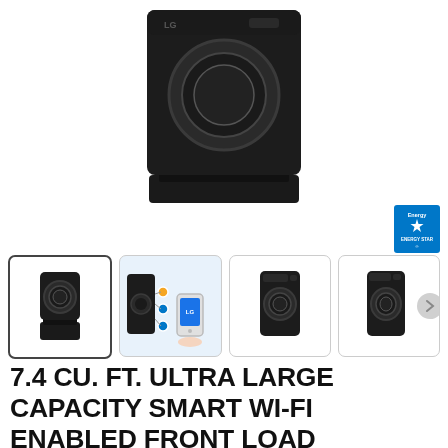[Figure (photo): LG black front-load electric dryer with pedestal, main product image on white background]
[Figure (logo): ENERGY STAR certification badge in blue]
[Figure (photo): Thumbnail 1 (selected): LG black dryer with pedestal, front view]
[Figure (photo): Thumbnail 2: LG smart dryer promotional image showing smartphone app connectivity with orange and blue icons]
[Figure (photo): Thumbnail 3: LG black front-load dryer, front view]
[Figure (photo): Thumbnail 4: LG black front-load dryer, slight angle view]
7.4 CU. FT. ULTRA LARGE CAPACITY SMART WI-FI ENABLED FRONT LOAD ELECTRIC DRYER WITH